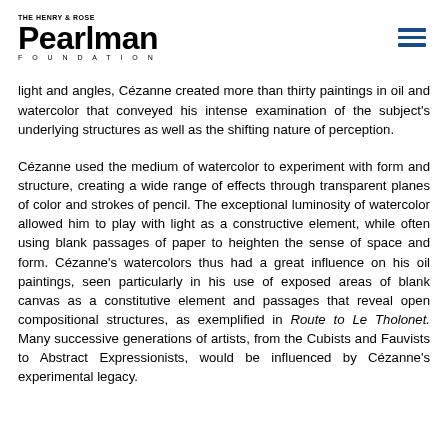THE HENRY & ROSE Pearlman FOUNDATION
light and angles, Cézanne created more than thirty paintings in oil and watercolor that conveyed his intense examination of the subject's underlying structures as well as the shifting nature of perception.
Cézanne used the medium of watercolor to experiment with form and structure, creating a wide range of effects through transparent planes of color and strokes of pencil. The exceptional luminosity of watercolor allowed him to play with light as a constructive element, while often using blank passages of paper to heighten the sense of space and form. Cézanne's watercolors thus had a great influence on his oil paintings, seen particularly in his use of exposed areas of blank canvas as a constitutive element and passages that reveal open compositional structures, as exemplified in Route to Le Tholonet. Many successive generations of artists, from the Cubists and Fauvists to Abstract Expressionists, would be influenced by Cézanne's experimental legacy.